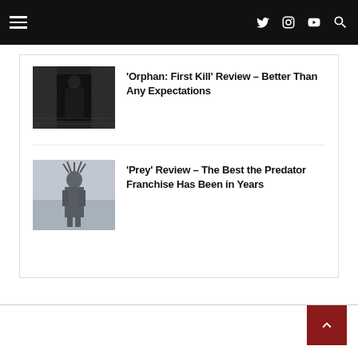Navigation bar with hamburger menu and social icons (Twitter, Instagram, YouTube, Search)
[Figure (photo): Movie still from 'Orphan: First Kill' showing a female figure in dark hallway]
'Orphan: First Kill' Review – Better Than Any Expectations
[Figure (photo): Movie still from 'Prey' showing a dark armored figure in snowy/misty setting]
'Prey' Review – The Best the Predator Franchise Has Been in Years